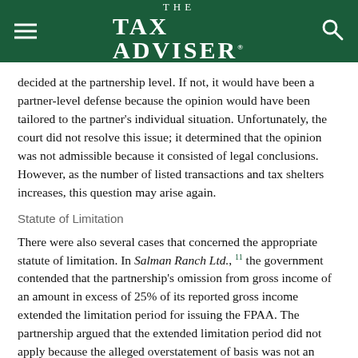THE TAX ADVISER
decided at the partnership level. If not, it would have been a partner-level defense because the opinion would have been tailored to the partner's individual situation. Unfortunately, the court did not resolve this issue; it determined that the opinion was not admissible because it consisted of legal conclusions. However, as the number of listed transactions and tax shelters increases, this question may arise again.
Statute of Limitation
There were also several cases that concerned the appropriate statute of limitation. In Salman Ranch Ltd.,11 the government contended that the partnership's omission from gross income of an amount in excess of 25% of its reported gross income extended the limitation period for issuing the FPAA. The partnership argued that the extended limitation period did not apply because the alleged overstatement of basis was not an omission from income, and the transaction was adequately disclosed in the returns of the partnership and partners.